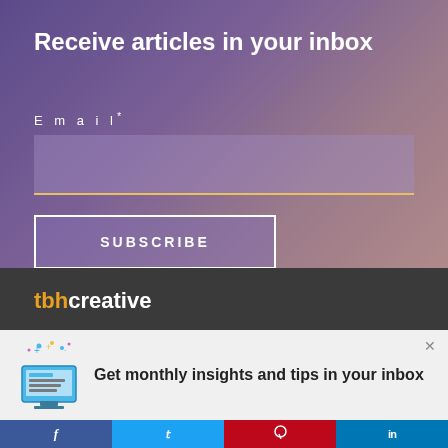Receive articles in your inbox
Email*
SUBSCRIBE
[Figure (logo): tbbcreative logo in orange and white text]
Get monthly insights and tips in your inbox
f  t  p  in (social media icons: Facebook, Twitter, Pinterest, LinkedIn)